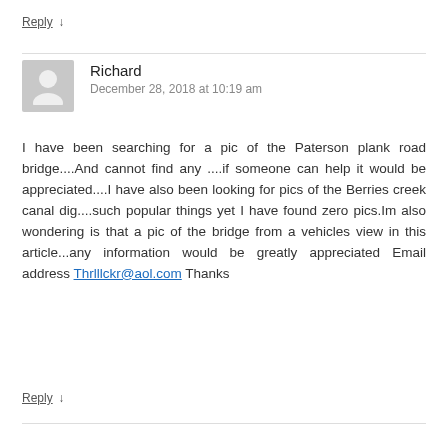Reply ↓
Richard
December 28, 2018 at 10:19 am
I have been searching for a pic of the Paterson plank road bridge....And cannot find any ....if someone can help it would be appreciated....I have also been looking for pics of the Berries creek canal dig....such popular things yet I have found zero pics.Im also wondering is that a pic of the bridge from a vehicles view in this article...any information would be greatly appreciated Email address Thrlllckr@aol.com Thanks
Reply ↓